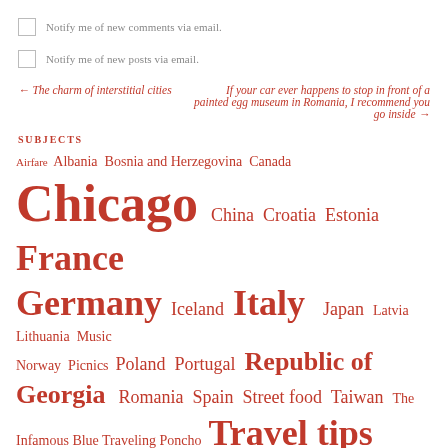Notify me of new comments via email.
Notify me of new posts via email.
← The charm of interstitial cities
If your car ever happens to stop in front of a painted egg museum in Romania, I recommend you go inside →
SUBJECTS
Airfare Albania Bosnia and Herzegovina Canada Chicago China Croatia Estonia France Germany Iceland Italy Japan Latvia Lithuania Music Norway Picnics Poland Portugal Republic of Georgia Romania Spain Street food Taiwan The Infamous Blue Traveling Poncho Travel tips Uncategorized UNESCO World Heritage Sites USA
THIS BLOG HAS BEEN FEATURED ON FRESHLY PRESSED!